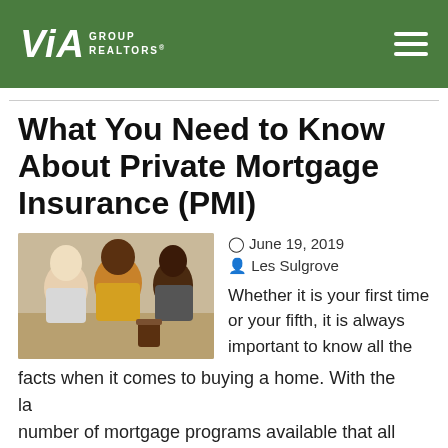VIA GROUP REALTORS
What You Need to Know About Private Mortgage Insurance (PMI)
[Figure (photo): Two women sitting at a table reviewing documents together, with a coffee cup on the table]
June 19, 2019   Les Sulgrove
Whether it is your first time or your fifth, it is always important to know all the facts when it comes to buying a home. With the large number of mortgage programs available that allow buyers to purchase homes with down payments below